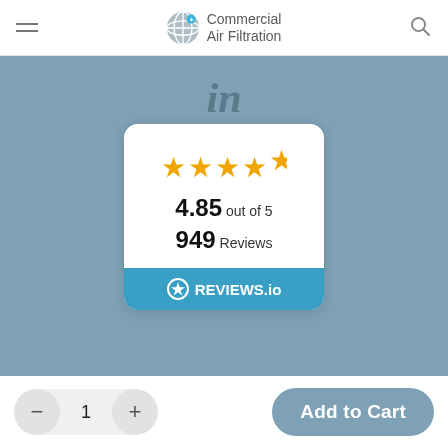Commercial Air Filtration
[Figure (logo): LinkedIn 'in' icon centered on blue-grey background]
[Figure (infographic): Reviews.io widget: 4.85 out of 5 stars, 949 reviews]
Shop with Confidence | Copyright 2022, Allergy Cosmos.
1
Add to Cart